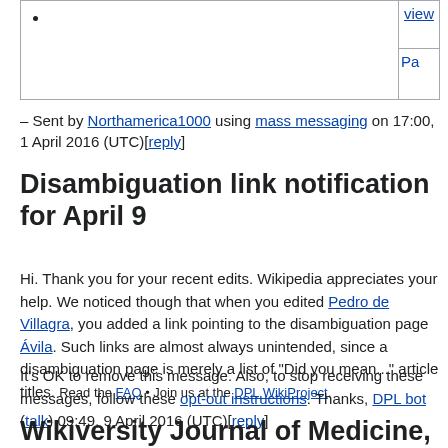| •  | view | Pa |
– Sent by Northamerica1000 using mass messaging on 17:00, 1 April 2016 (UTC)[reply]
Disambiguation link notification for April 9
Hi. Thank you for your recent edits. Wikipedia appreciates your help. We noticed though that when you edited Pedro de Villagra, you added a link pointing to the disambiguation page Ávila. Such links are almost always unintended, since a disambiguation page is merely a list of "Did you mean..." article titles. Read the FAQ • Join us at the DPL WikiProject.
It's OK to remove this message. Also, to stop receiving these messages, follow these opt-out instructions. Thanks, DPL bot (talk) 09:49, 9 April 2016 (UTC)[reply]
Wikiversity Journal of Medicine, an open access peer reviewed journal with no